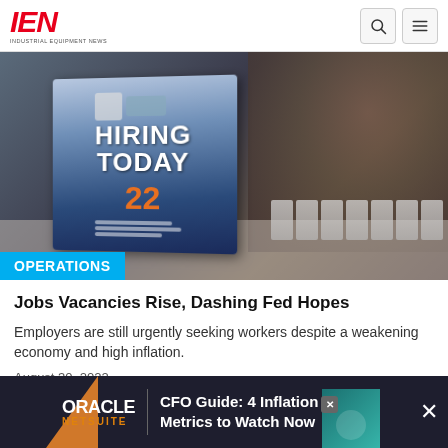IEN Industrial Equipment News
[Figure (photo): Blurry photo of a hiring event with a 'Hiring Today' sign in the foreground and a person in the background. An 'OPERATIONS' label overlays the bottom of the image.]
OPERATIONS
Jobs Vacancies Rise, Dashing Fed Hopes
Employers are still urgently seeking workers despite a weakening economy and high inflation.
August 30, 2022
[Figure (screenshot): Oracle NetSuite advertisement banner: 'CFO Guide: 4 Inflation Metrics to Watch Now']